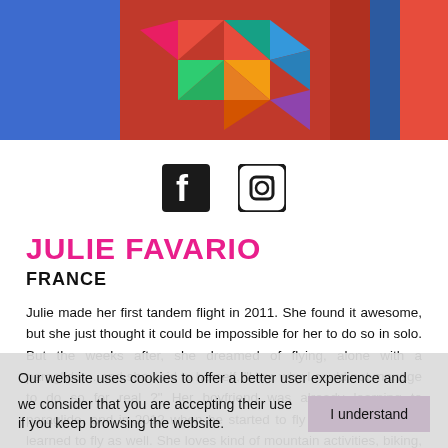[Figure (photo): Photo of person wearing a colorful geometric patterned red shirt, cropped at top of page]
[Figure (other): Facebook and Instagram social media icons side by side]
JULIE FAVARIO
FRANCE
Julie made her first tandem flight in 2011. She found it awesome, but she just thought it could be impossible for her to do so in solo. But the weeks after, she dreamed of flying, alone with a paraglider... and she said to herself, "Hey, why I could not manage to do so for real ?" Her boyfriend was already learning to paraglide, and in 2012 when he started to fly out of school, she learned to fly as well. She loves kind of mountain activities, biking, mountain biking, climbing, trail running, etc. Paragliding is for her...
Our website uses cookies to offer a better user experience and we consider that you are accepting their use if you keep browsing the website.